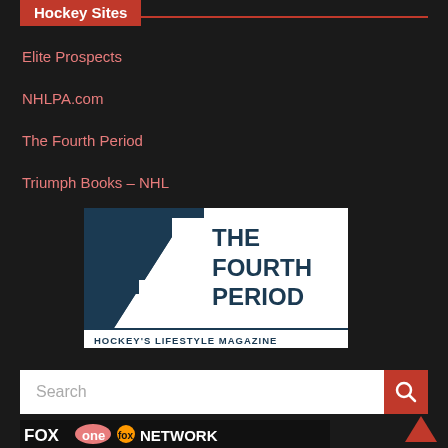Hockey Sites
Elite Prospects
NHLPA.com
The Fourth Period
Triumph Books – NHL
[Figure (logo): The Fourth Period – Hockey's Lifestyle Magazine logo. Dark navy square with stylized number 4, bold text THE FOURTH PERIOD, and subtitle HOCKEY'S LIFESTYLE MAGAZINE on white background.]
Search
[Figure (logo): FOX Sports Network banner logo at the bottom of the page]